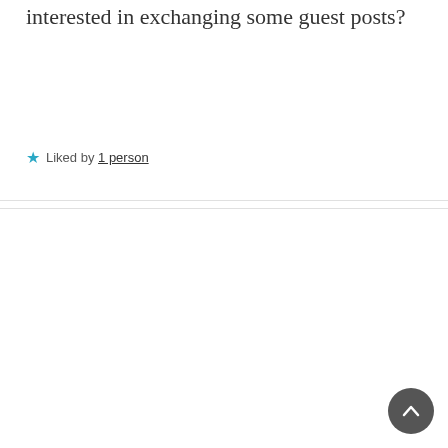interested in exchanging some guest posts?
★ Liked by 1 person
Thedihedral  6 years ago
Strangely more similar than you would think...we posted a reference to sisyphus as well. https://thedihedral.com/2016/12/7/14/ We would love to exchange